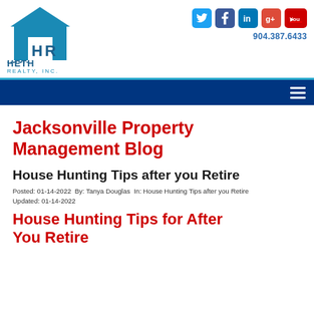Heth Realty Inc. | 904.387.6433
Jacksonville Property Management Blog
House Hunting Tips after you Retire
Posted: 01-14-2022  By: Tanya Douglas  In: House Hunting Tips after you Retire  Updated: 01-14-2022
House Hunting Tips for After You Retire